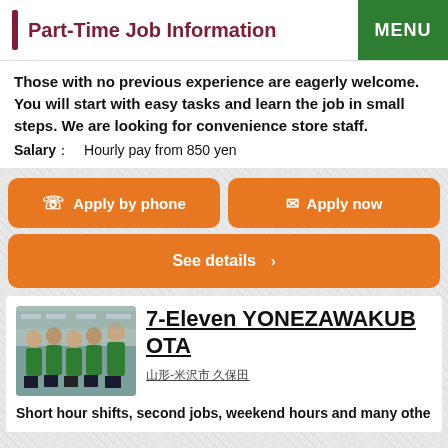Part-Time Job Information
Those with no previous experience are eagerly welcome. You will start with easy tasks and learn the job in small steps. We are looking for convenience store staff.
Salary： Hourly pay from 850 yen
Apply by phone
Apply now
See details
7-Eleven YONEZAWAKUBOTA
山形-米沢市 久保田
Short hour shifts, second jobs, weekend hours and many othe